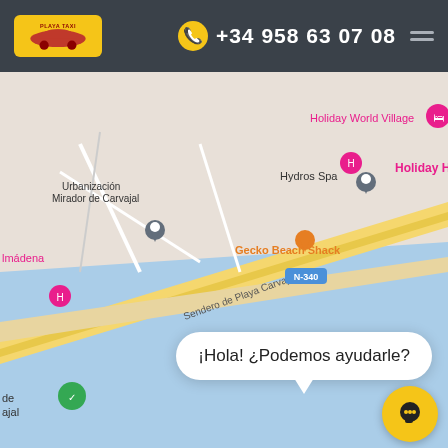Playa Taxi | +34 958 63 07 08
[Figure (map): Google Maps screenshot showing coastal area near Playa Carvajal, Benalmádena, Spain. Visible landmarks include: Urbanización Mirador de Carvajal, Hydros Spa, Holiday World Village, Holiday Hydros, Holiday World Beach Club, Gecko Beach Shack (N-340), Playa de Tajo de la Soga, Sendero de Playa Carvajal. Coastline with blue sea visible at bottom.]
¡Hola! ¿Podemos ayudarle?